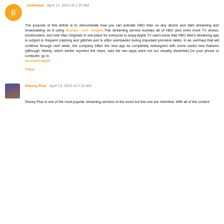Unknown April 11, 2022 at 1:35 AM
The purpose of this article is to demonstrate how you can activate HBO Max on any device and start streaming and broadcasting on it using hbomax com tvsignin.This streaming service bundles all of HBO plus even more TV shows, blockbusters, and new Max Originals in one place for everyone to enjoy.Apple TV users know that HBO Max's streaming app is subject to frequent crashing and glitches and is often overloaded during important premiere dates. In an overhaul that will continue through next week, the company billed the new app as completely redesigned with some useful new features (although Variety, which earlier reported the news, said the two apps were not too visually dissimilar).On your phone or computer, go to hbomax/tvsignin.
Reply
Disney Plus April 13, 2022 at 5:32 AM
Disney Plus is one of the most popular streaming services in the world but this one areristrictina. With all of the content